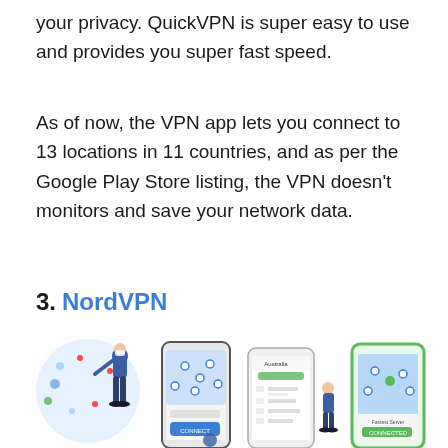your privacy. QuickVPN is super easy to use and provides you super fast speed.
As of now, the VPN app lets you connect to 13 locations in 11 countries, and as per the Google Play Store listing, the VPN doesn't monitors and save your network data.
3. NordVPN
[Figure (illustration): Four smartphone screenshots and an illustration showing NordVPN app interface with map views and a person using VPN]